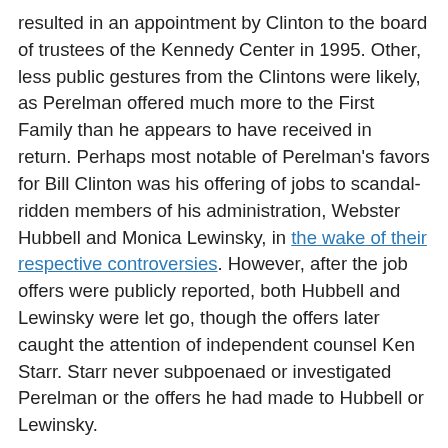resulted in an appointment by Clinton to the board of trustees of the Kennedy Center in 1995. Other, less public gestures from the Clintons were likely, as Perelman offered much more to the First Family than he appears to have received in return. Perhaps most notable of Perelman's favors for Bill Clinton was his offering of jobs to scandal-ridden members of his administration, Webster Hubbell and Monica Lewinsky, in the wake of their respective controversies. However, after the job offers were publicly reported, both Hubbell and Lewinsky were let go, though the offers later caught the attention of independent counsel Ken Starr. Starr never subpoenaed or investigated Perelman or the offers he had made to Hubbell or Lewinsky.
The controversial hirings had been arranged between Perelman and Clinton advisor Vernon Jordan, who sat on the board of Revlon, a Perelman-controlled company, while his wife was on the board of another Perelman-owned firm. Jordan was known as Clinton's "conduit to the high and mighty" and had taken Clinton to the 1991 Bilderberg conference. On the decision to hire Lewinsky following the scandal, a former business associate of Perelman's told the Washington Post that "It's like the Mafia, it's...